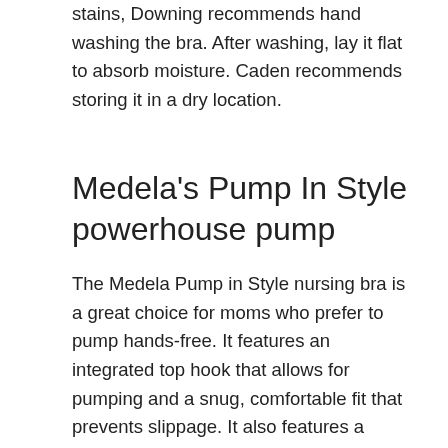stains, Downing recommends hand washing the bra. After washing, lay it flat to absorb moisture. Caden recommends storing it in a dry location.
Medela's Pump In Style powerhouse pump
The Medela Pump in Style nursing bra is a great choice for moms who prefer to pump hands-free. It features an integrated top hook that allows for pumping and a snug, comfortable fit that prevents slippage. It also features a reinforced top hook that provides no-slip support. A few users have complained that the front opening is too small and that the flanges can't be put on properly with the bottles attached.